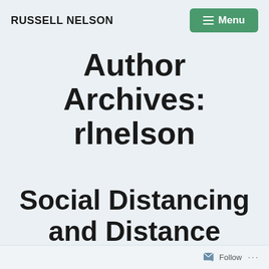RUSSELL NELSON
Author Archives: rlnelson
Social Distancing and Distance
Follow ...